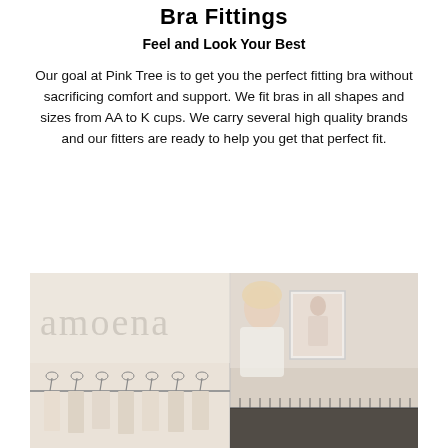Bra Fittings
Feel and Look Your Best
Our goal at Pink Tree is to get you the perfect fitting bra without sacrificing comfort and support. We fit bras in all shapes and sizes from AA to K cups. We carry several high quality brands and our fitters are ready to help you get that perfect fit.
[Figure (photo): Store interior showing the Amoena brand name on the wall and clothing racks with bras on the left panel; a woman smiling next to a framed poster on the right panel.]